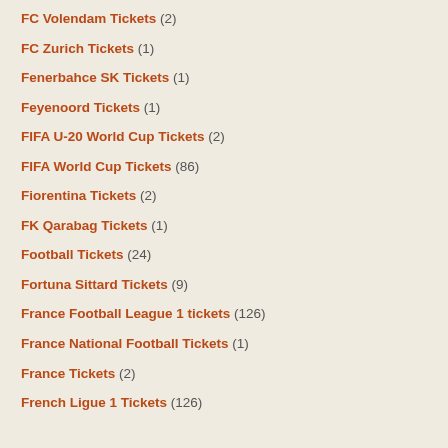FC Volendam Tickets (2)
FC Zurich Tickets (1)
Fenerbahce SK Tickets (1)
Feyenoord Tickets (1)
FIFA U-20 World Cup Tickets (2)
FIFA World Cup Tickets (86)
Fiorentina Tickets (2)
FK Qarabag Tickets (1)
Football Tickets (24)
Fortuna Sittard Tickets (9)
France Football League 1 tickets (126)
France National Football Tickets (1)
France Tickets (2)
French Ligue 1 Tickets (126)